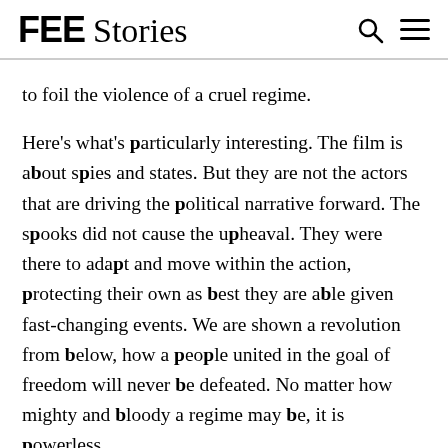FEE Stories
to foil the violence of a cruel regime.
Here's what's particularly interesting. The film is about spies and states. But they are not the actors that are driving the political narrative forward. The spooks did not cause the upheaval. They were there to adapt and move within the action, protecting their own as best they are able given fast-changing events. We are shown a revolution from below, how a people united in the goal of freedom will never be defeated. No matter how mighty and bloody a regime may be, it is powerless